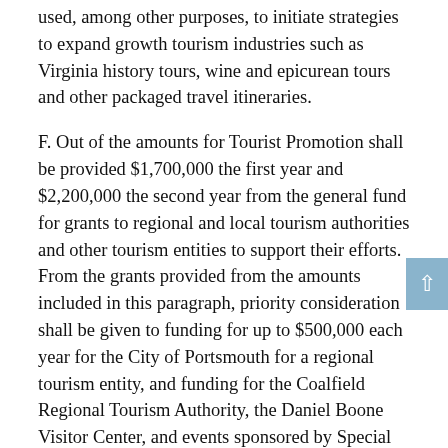used, among other purposes, to initiate strategies to expand growth tourism industries such as Virginia history tours, wine and epicurean tours and other packaged travel itineraries.
F. Out of the amounts for Tourist Promotion shall be provided $1,700,000 the first year and $2,200,000 the second year from the general fund for grants to regional and local tourism authorities and other tourism entities to support their efforts.  From the grants provided from the amounts included in this paragraph, priority consideration shall be given to funding for up to $500,000 each year for the City of Portsmouth for a regional tourism entity, and funding for the Coalfield Regional Tourism Authority, the Daniel Boone Visitor Center, and events sponsored by Special Olympics Virginia.
G. The Virginia Tourism Authority shall place a high priority on marketing rural areas of the state